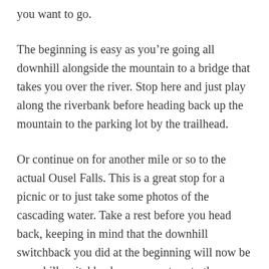you want to go.
The beginning is easy as you’re going all downhill alongside the mountain to a bridge that takes you over the river. Stop here and just play along the riverbank before heading back up the mountain to the parking lot by the trailhead.
Or continue on for another mile or so to the actual Ousel Falls. This is a great stop for a picnic or to just take some photos of the cascading water. Take a rest before you head back, keeping in mind that the downhill switchback you did at the beginning will now be an uphill switchback on your return to the parking lot.